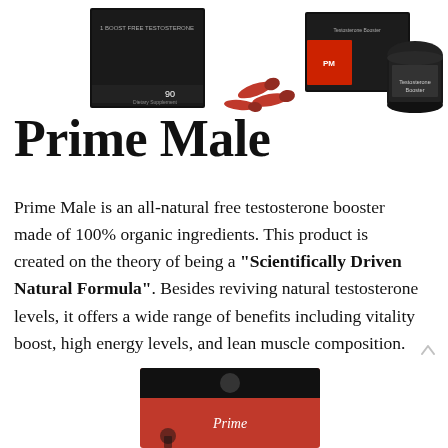[Figure (photo): Two product images at top: left shows a black box supplement labeled '90' (Prime Male product), right shows a black box with red capsules and a supplement container]
Prime Male
Prime Male is an all-natural free testosterone booster made of 100% organic ingredients. This product is created on the theory of being a “Scientifically Driven Natural Formula”. Besides reviving natural testosterone levels, it offers a wide range of benefits including vitality boost, high energy levels, and lean muscle composition.
[Figure (photo): Bottom image showing a red and black Prime Male supplement box with a logo, partially visible at bottom of page]